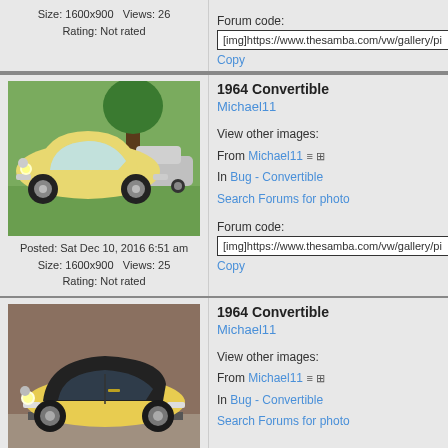Size: 1600x900   Views: 26
Rating: Not rated
Forum code:
[img]https://www.thesamba.com/vw/gallery/pi
Copy
1964 Convertible
Michael11
View other images:
From Michael11
In Bug - Convertible
Search Forums for photo
Forum code:
[img]https://www.thesamba.com/vw/gallery/pi
Copy
[Figure (photo): Yellow VW Beetle convertible parked under trees, 1964 Convertible]
Posted: Sat Dec 10, 2016 6:51 am
Size: 1600x900   Views: 25
Rating: Not rated
1964 Convertible
Michael11
View other images:
From Michael11
In Bug - Convertible
Search Forums for photo
[Figure (photo): Yellow VW Beetle convertible in a garage, black soft top, 1964 Convertible]
1964 Convertible
Michael11
View other images:
From Michael11
In Bug - Convertible
Search Forums for photo